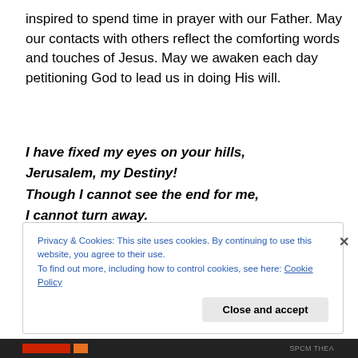inspired to spend time in prayer with our Father. May our contacts with others reflect the comforting words and touches of Jesus. May we awaken each day petitioning God to lead us in doing His will.
I have fixed my eyes on your hills,
Jerusalem, my Destiny!
Though I cannot see the end for me,
I cannot turn away.
We have set our hearts for the way;
this journey is our destiny.
Privacy & Cookies: This site uses cookies. By continuing to use this website, you agree to their use.
To find out more, including how to control cookies, see here: Cookie Policy